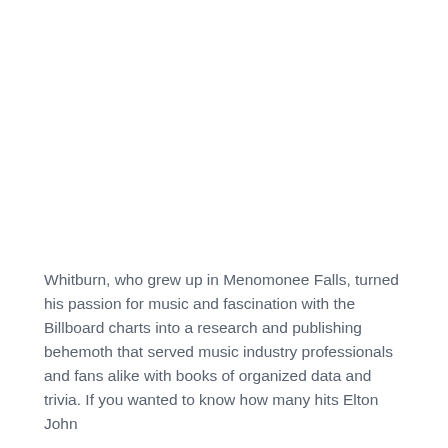Whitburn, who grew up in Menomonee Falls, turned his passion for music and fascination with the Billboard charts into a research and publishing behemoth that served music industry professionals and fans alike with books of organized data and trivia. If you wanted to know how many hits Elton John